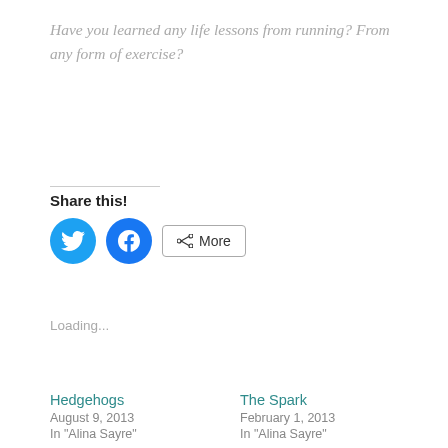Have you learned any life lessons from running? From any form of exercise?
Share this!
[Figure (other): Twitter share button (blue circle with bird icon), Facebook share button (blue circle with f icon), and a More button with share icon]
Loading...
Hedgehogs
August 9, 2013
In "Alina Sayre"
The Spark
February 1, 2013
In "Alina Sayre"